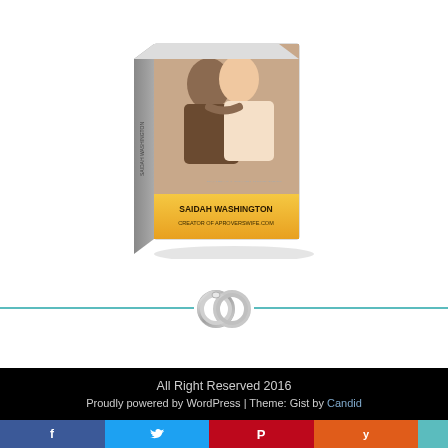[Figure (photo): A 3D book cover image featuring a couple embracing with text 'SAIDAH WASHINGTON - CREATOR OF APROVERSWIFE.COM'. An orange/gold colored book box with a romantic couple on the cover.]
[Figure (illustration): Decorative divider with two interlocked silver wedding rings in the center, flanked by teal/turquoise horizontal lines on both sides.]
All Right Reserved 2016
Proudly powered by WordPress | Theme: Gist by Candid
[Figure (infographic): Social media share bar with four buttons: Facebook (blue, f icon), Twitter (light blue, bird icon), Pinterest (red, P icon), Yummly (orange, Y icon), and a small teal section on the far right.]